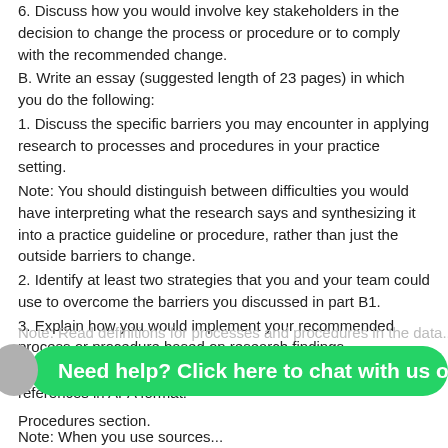6. Discuss how you would involve key stakeholders in the decision to change the process or procedure or to comply with the recommended change.
B. Write an essay (suggested length of 23 pages) in which you do the following:
1. Discuss the specific barriers you may encounter in applying research to processes and procedures in your practice setting.
Note: You should distinguish between difficulties you would have interpreting what the research says and synthesizing it into a practice guideline or procedure, rather than just the outside barriers to change.
2. Identify at least two strategies that you and your team could use to overcome the barriers you discussed in part B1.
3. Explain how you would implement your recommended process or procedure based on research findings.
C. When you use sources, include all in-text citations and references in APA format.
Need help? Click here to chat with us on Whatsa
Procedures section.
Note: When you use sources...